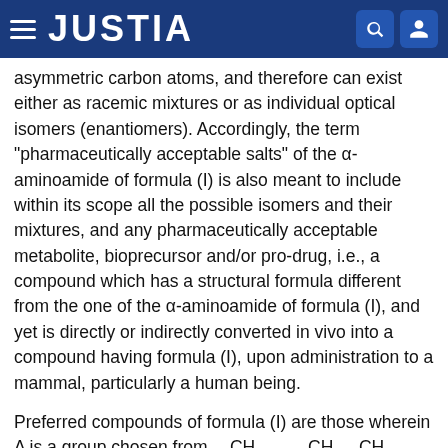JUSTIA
asymmetric carbon atoms, and therefore can exist either as racemic mixtures or as individual optical isomers (enantiomers). Accordingly, the term “pharmaceutically acceptable salts” of the α-aminoamide of formula (I) is also meant to include within its scope all the possible isomers and their mixtures, and any pharmaceutically acceptable metabolite, bioprecursor and/or pro-drug, i.e., a compound which has a structural formula different from the one of the α-aminoamide of formula (I), and yet is directly or indirectly converted in vivo into a compound having formula (I), upon administration to a mammal, particularly a human being.
Preferred compounds of formula (I) are those wherein A is a group chosen from —CH₂—, —CH₂—CH₂—, —CH₂—S—, —CH₂—CH₂—S—, and —(CH₂)n—O—, wherein n is an integer of 1 to 5.